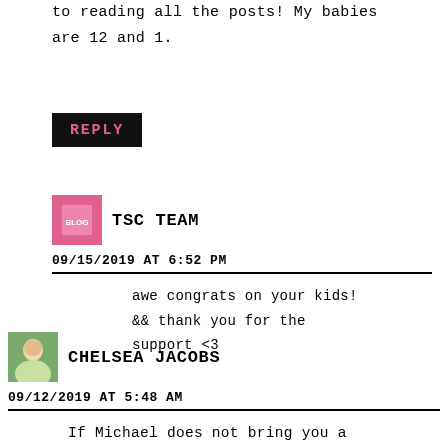to reading all the posts! My babies are 12 and 1.
REPLY
TSC TEAM
09/15/2019 AT 6:52 PM
awe congrats on your kids! && thank you for the support <3
CHELSEA JACOBS
09/12/2019 AT 5:48 AM
If Michael does not bring you a skinny half rim of salt margarita TO